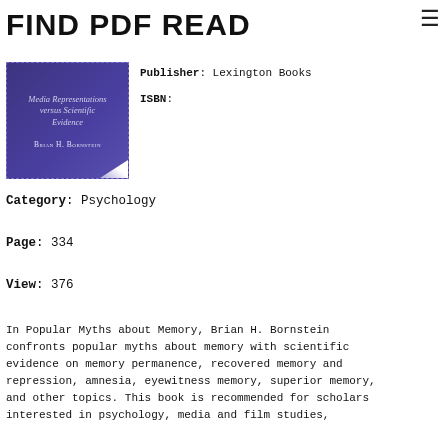FIND PDF READ
[Figure (illustration): Book cover for 'Media Representations versus Scientific Evidence' by Brian H. Bornstein, purple cover with dashed border and folded corner]
Publisher: Lexington Books
ISBN:
Category: Psychology
Page: 334
View: 376
In Popular Myths about Memory, Brian H. Bornstein confronts popular myths about memory with scientific evidence on memory permanence, recovered memory and repression, amnesia, eyewitness memory, superior memory, and other topics. This book is recommended for scholars interested in psychology, media and film studies,